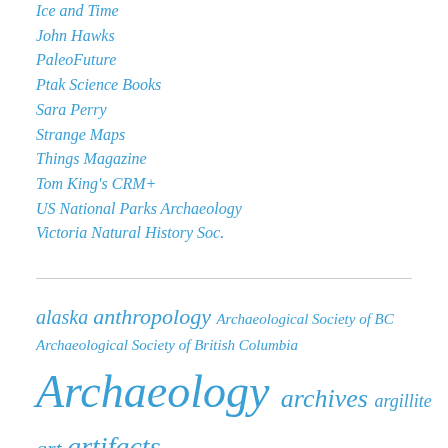Ice and Time
John Hawks
PaleoFuture
Ptak Science Books
Sara Perry
Strange Maps
Things Magazine
Tom King's CRM+
US National Parks Archaeology
Victoria Natural History Soc.
alaska anthropology Archaeological Society of BC Archaeological Society of British Columbia Archaeology archives argillite art artifacts ASBC british columbia canoes clovis CMT Coast Salish